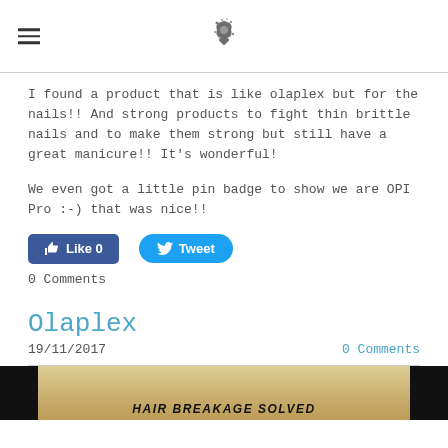[hamburger menu icon] [logo/illustration]
I found a product that is like olaplex but for the nails!! And strong products to fight thin brittle nails and to make them strong but still have a great manicure!! It's wonderful!
We even got a little pin badge to show we are OPI Pro :-) that was nice!!
[Figure (other): Facebook Like button showing Like 0 and Twitter Tweet button]
0 Comments
Olaplex
19/11/2017
0 Comments
[Figure (photo): Partial image of blonde hair with text HAIR BREAKAGE SOLVED on dark background]